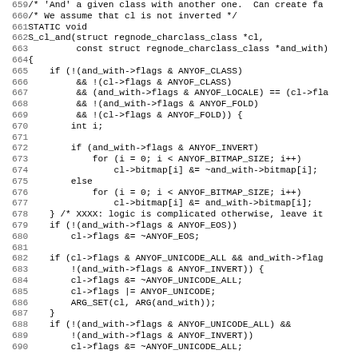[Figure (other): Source code listing showing C function S_cl_and with line numbers 659-690, monospace font on white background]